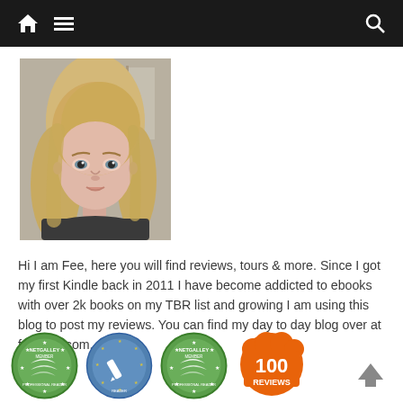Navigation bar with home, menu, and search icons
[Figure (photo): Profile photo of a young woman with straight blonde hair, pale skin, wearing a dark top, photographed indoors against a light background.]
Hi I am Fee, here you will find reviews, tours & more. Since I got my first Kindle back in 2011 I have become addicted to ebooks with over 2k books on my TBR list and growing I am using this blog to post my reviews. You can find my day to day blog over at feeisms.com.
[Figure (logo): NetGalley Member badge - green circular badge with arrows logo and stars]
[Figure (logo): Goodreads or similar reading badge - blue circular badge with pen/quill logo and stars]
[Figure (logo): NetGalley Member badge - green circular badge with arrows logo and stars (second)]
[Figure (logo): 100 Reviews badge - orange circular badge with '100 REVIEWS' text]